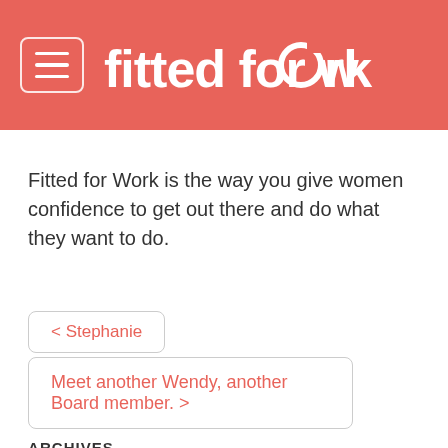fitted for work
Fitted for Work is the way you give women confidence to get out there and do what they want to do.
< Stephanie
Meet another Wendy, another Board member. >
ARCHIVES
March 2022
February 2022
December 2021